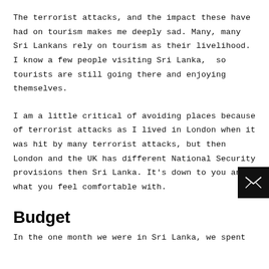The terrorist attacks, and the impact these have had on tourism makes me deeply sad. Many, many Sri Lankans rely on tourism as their livelihood. I know a few people visiting Sri Lanka,  so tourists are still going there and enjoying themselves.
I am a little critical of avoiding places because of terrorist attacks as I lived in London when it was hit by many terrorist attacks, but then London and the UK has different National Security provisions then Sri Lanka. It's down to you and what you feel comfortable with.
Budget
In the one month we were in Sri Lanka, we spent